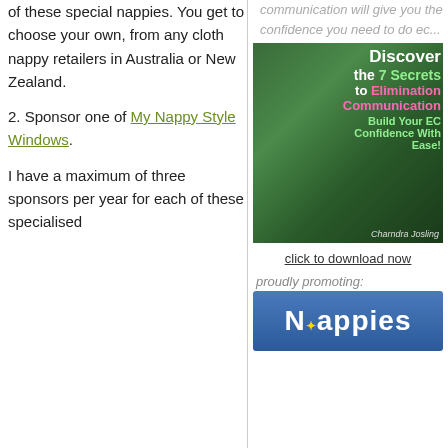of these special nappies. You get to choose your own, from any cloth nappy retailers in Australia or New Zealand.
2. Sponsor one of My Nappy Style Windows.
I have a maximum of three sponsors per year for each of these specialised
communication will give you the confidence you need to do ec...
[Figure (photo): Book cover: Discover the 7 Secrets to Elimination Communication - Build Your EC Confidence With Ease! by Charndra Josling. Features a baby in a blue jacket outdoors.]
click to download now
proudly promoting:
[Figure (logo): Nappies logo banner - blue background with white stylized text reading Nappies]